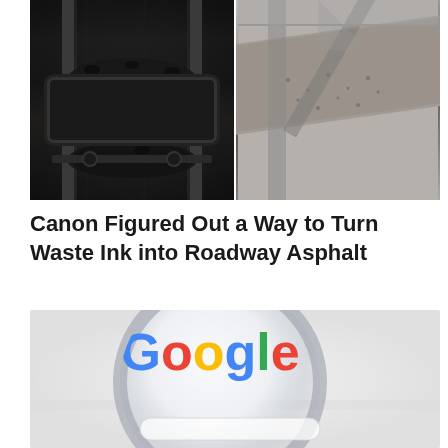[Figure (photo): Two side-by-side industrial photos: left shows dark coal/black granules on a conveyor belt with metal rails; right shows gray granular material (asphalt aggregate) being poured or conveyed on an industrial belt/chute.]
Canon Figured Out a Way to Turn Waste Ink into Roadway Asphalt
[Figure (photo): A magnifying glass held over a white surface showing the Google logo in its signature multicolored lettering (blue G, red o, yellow o, blue g, green l, red e), viewed through the lens with a blurred background.]